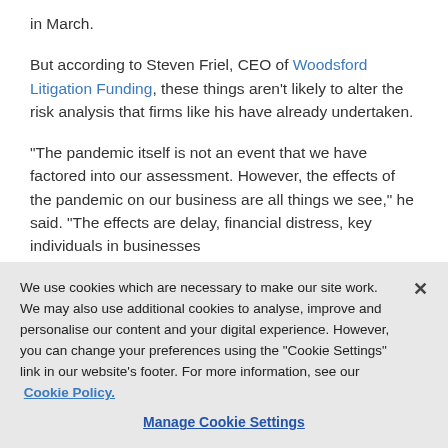in March.
But according to Steven Friel, CEO of Woodsford Litigation Funding, these things aren't likely to alter the risk analysis that firms like his have already undertaken.
"The pandemic itself is not an event that we have factored into our assessment. However, the effects of the pandemic on our business are all things we see," he said. "The effects are delay, financial distress, key individuals in businesses we support getting ill — these are all things we do factor
We use cookies which are necessary to make our site work. We may also use additional cookies to analyse, improve and personalise our content and your digital experience. However, you can change your preferences using the "Cookie Settings" link in our website's footer. For more information, see our Cookie Policy.
Manage Cookie Settings